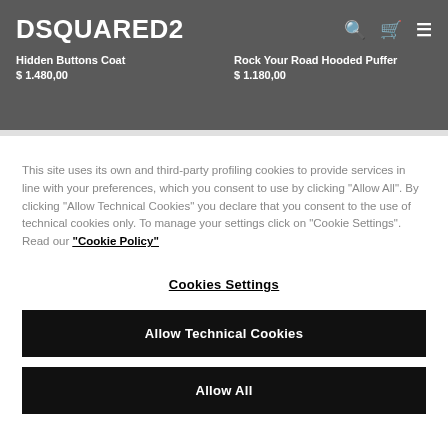DSQUARED2
Hidden Buttons Coat
$ 1.480,00
Rock Your Road Hooded Puffer
$ 1.180,00
This site uses its own and third-party profiling cookies to provide services in line with your preferences, which you consent to use by clicking "Allow All". By clicking "Allow Technical Cookies" you declare that you consent to the use of technical cookies only. To manage your settings click on "Cookie Settings". Read our "Cookie Policy"
Cookies Settings
Allow Technical Cookies
Allow All